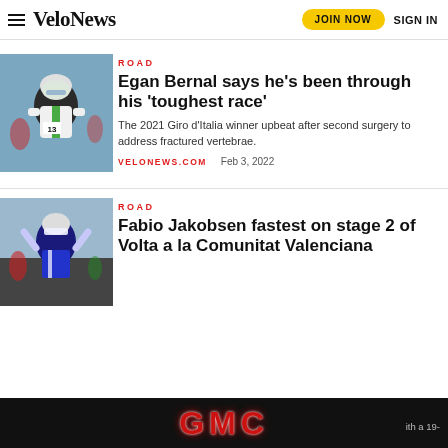VeloNews — JOIN NOW   SIGN IN
ROAD
Egan Bernal says he's been through his 'toughest race'
The 2021 Giro d'Italia winner upbeat after second surgery to address fractured vertebrae.
VELONEWS.COM   Feb 3, 2022
ROAD
Fabio Jakobsen fastest on stage 2 of Volta a la Comunitat Valenciana
[Figure (advertisement): GMC advertisement banner in black background with red GMC logo text]